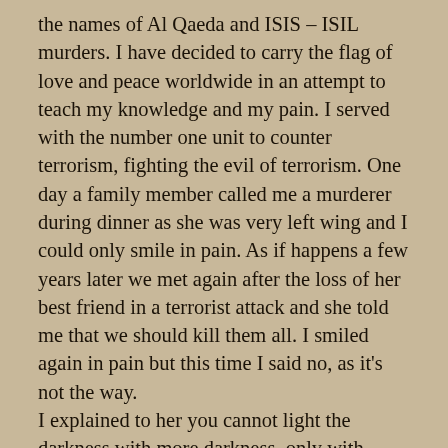the names of Al Qaeda and ISIS – ISIL murders. I have decided to carry the flag of love and peace worldwide in an attempt to teach my knowledge and my pain. I served with the number one unit to counter terrorism, fighting the evil of terrorism. One day a family member called me a murderer during dinner as she was very left wing and I could only smile in pain. As if happens a few years later we met again after the loss of her best friend in a terrorist attack and she told me that we should kill them all. I smiled again in pain but this time I said no, as it's not the way.
I explained to her you cannot light the darkness with more darkness, only with light. If we continuously go about exchanging an eye for and eye then we all will end up blind. I'm not a murderer and my friends are not murders. As an example I will tell you a story about my unit, one of the paramedics had resuscitated a terrorist who had